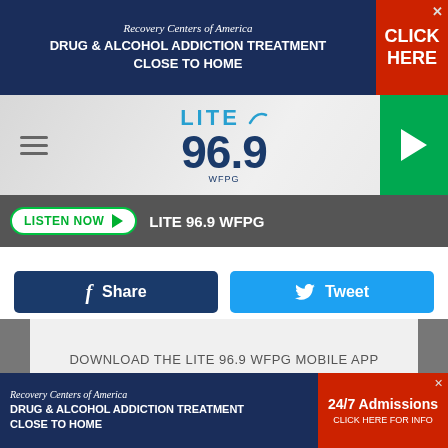[Figure (infographic): Recovery Centers of America advertisement banner: dark navy background with text 'Recovery Centers of America / DRUG & ALCOHOL ADDICTION TREATMENT CLOSE TO HOME' and red 'CLICK HERE' button on right]
[Figure (logo): Lite 96.9 WFPG radio station logo with hamburger menu on left and green play button on right]
LISTEN NOW ▶  LITE 96.9 WFPG
[Figure (infographic): Facebook Share button (dark blue) and Twitter Tweet button (light blue) side by side]
DOWNLOAD THE LITE 96.9 WFPG MOBILE APP
GET OUR FREE MOBILE APP
Also listen on:  amazon alexa
[Figure (infographic): Recovery Centers of America advertisement banner at bottom: 'DRUG & ALCOHOL ADDICTION TREATMENT CLOSE TO HOME' with red section showing '24/7 Admissions CLICK HERE FOR INFO']